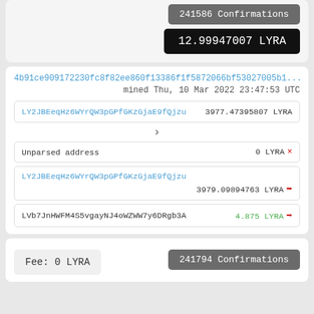241586 Confirmations
12.99947007 LYRA
4b91ce909172230fc8f82ee860f13386f1f5872066bf53027005b1...
mined Thu, 10 Mar 2022 23:47:53 UTC
LY2JBEeqHz6WYrQW3pGPfGKzGjaE9fQjzu  3977.47395807 LYRA
>
Unparsed address   0 LYRA ×
LY2JBEeqHz6WYrQW3pGPfGKzGjaE9fQjzu
3979.09894763 LYRA →
LVb7JnHWFM4S5vgayNJ4oWZWW7y6DRgb3A   4.875 LYRA →
Fee: 0 LYRA
241794 Confirmations